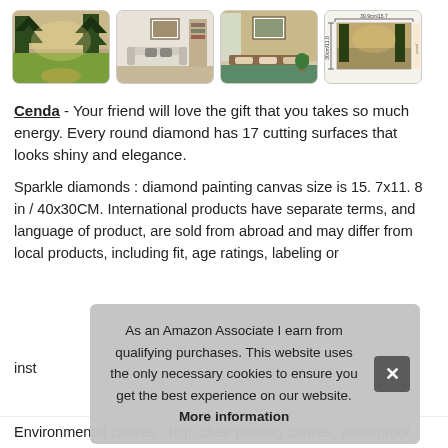[Figure (photo): Four product thumbnail images: 1) Forest painting diamond art, 2) Living room with framed art on wall, 3) Bedroom with framed art above headboard, 4) Measurement diagram with forest painting]
Cenda - Your friend will love the gift that you takes so much energy. Every round diamond has 17 cutting surfaces that looks shiny and elegance.
Sparkle diamonds : diamond painting canvas size is 15. 7x11. 8 in / 40x30CM. International products have separate terms, and language of product, are sold from abroad and may differ from local products, including fit, age ratings, labeling or instructions.
As an Amazon Associate I earn from qualifying purchases. This website uses the only necessary cookies to ensure you get the best experience on our website. More information
Environmental canvas : high clear printing canvas, waterproof